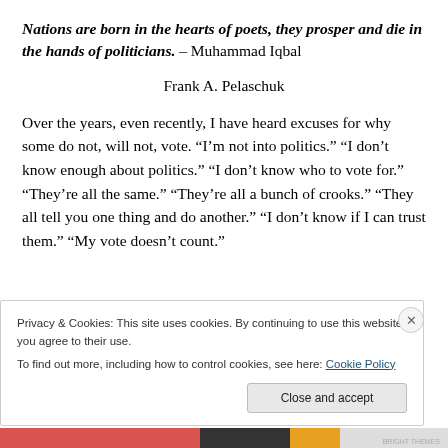Nations are born in the hearts of poets, they prosper and die in the hands of politicians. – Muhammad Iqbal
Frank A. Pelaschuk
Over the years, even recently, I have heard excuses for why some do not, will not, vote. “I’m not into politics.” “I don’t know enough about politics.” “I don’t know who to vote for.” “They’re all the same.” “They’re all a bunch of crooks.” “They all tell you one thing and do another.” “I don’t know if I can trust them.” “My vote doesn’t count.”
Privacy & Cookies: This site uses cookies. By continuing to use this website, you agree to their use.
To find out more, including how to control cookies, see here: Cookie Policy
Close and accept